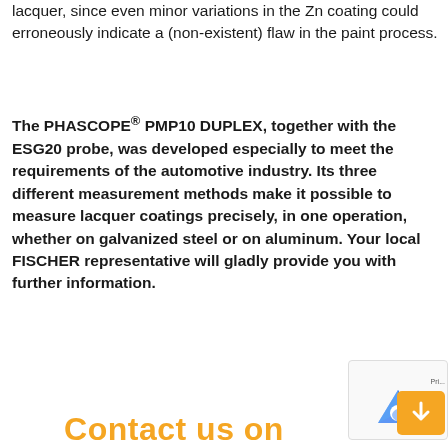lacquer, since even minor variations in the Zn coating could erroneously indicate a (non-existent) flaw in the paint process.
The PHASCOPE® PMP10 DUPLEX, together with the ESG20 probe, was developed especially to meet the requirements of the automotive industry. Its three different measurement methods make it possible to measure lacquer coatings precisely, in one operation, whether on galvanized steel or on aluminum. Your local FISCHER representative will gladly provide you with further information.
Contact us on